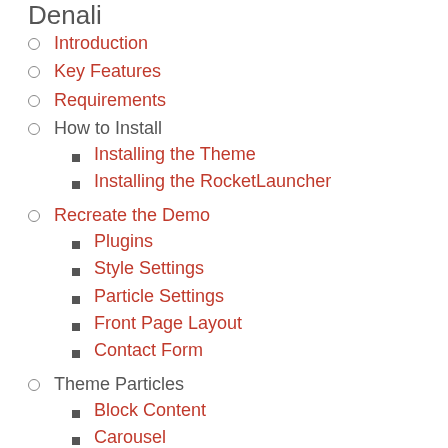Denali
Introduction
Key Features
Requirements
How to Install
Installing the Theme
Installing the RocketLauncher
Recreate the Demo
Plugins
Style Settings
Particle Settings
Front Page Layout
Contact Form
Theme Particles
Block Content
Carousel
Case Studies